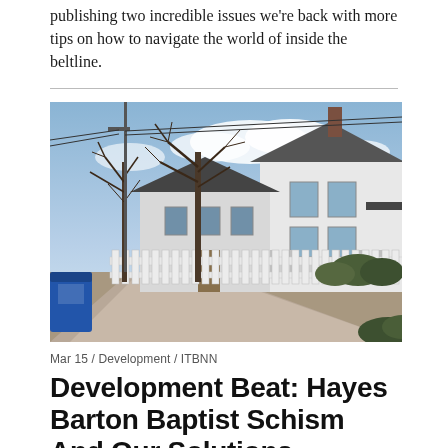publishing two incredible issues we're back with more tips on how to navigate the world of inside the beltline.
[Figure (photo): Street-level photograph of a residential neighborhood with a white wooden picket fence in the foreground, a concrete sidewalk, bare winter trees with telephone poles and power lines, and white two-story craftsman-style houses in the background under a partly cloudy sky. A blue recycling bin is visible on the left.]
Mar 15 / Development / ITBNN
Development Beat: Hayes Barton Baptist Schism And Our Solutions